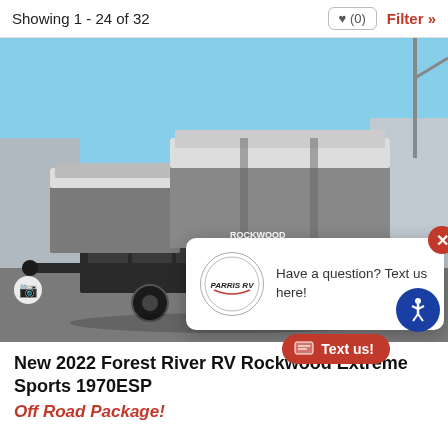Showing 1 - 24 of 32
[Figure (photo): A 2022 Forest River RV Rockwood Extreme Sports 1970ESP popup camper trailer, shown open with extended tent sections, parked in a dealer lot on a sunny day.]
[Figure (infographic): Chat popup overlay with Parris RV logo in a circle and text 'Have a question? Text us here!' with a red close button.]
New 2022 Forest River RV Rockwood Extreme Sports 1970ESP
Off Road Package!